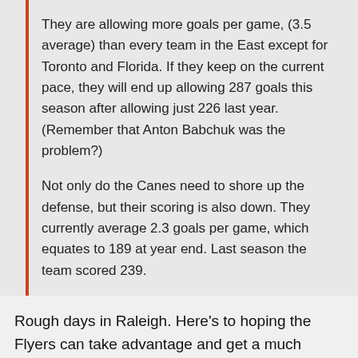They are allowing more goals per game, (3.5 average) than every team in the East except for Toronto and Florida. If they keep on the current pace, they will end up allowing 287 goals this season after allowing just 226 last year. (Remember that Anton Babchuk was the problem?)
Not only do the Canes need to shore up the defense, but their scoring is also down. They currently average 2.3 goals per game, which equates to 189 at year end. Last season the team scored 239.
Rough days in Raleigh. Here's to hoping the Flyers can take advantage and get a much needed victory today.
[Figure (photo): Dark image partially visible at bottom of page, appears to be a sports or arena photograph]